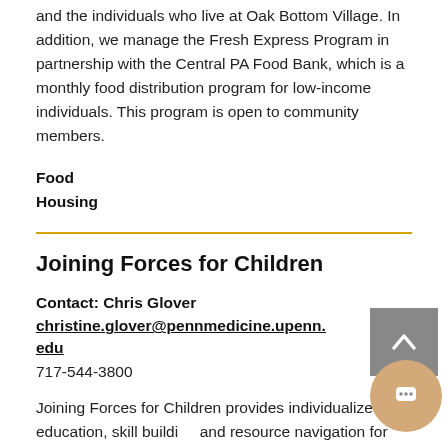and the individuals who live at Oak Bottom Village. In addition, we manage the Fresh Express Program in partnership with the Central PA Food Bank, which is a monthly food distribution program for low-income individuals. This program is open to community members.
Food
Housing
Joining Forces for Children
Contact: Chris Glover
christine.glover@pennmedicine.upenn.edu
717-544-3800
Joining Forces for Children provides individualized education, skill building and resource navigation for children and families in need. We...